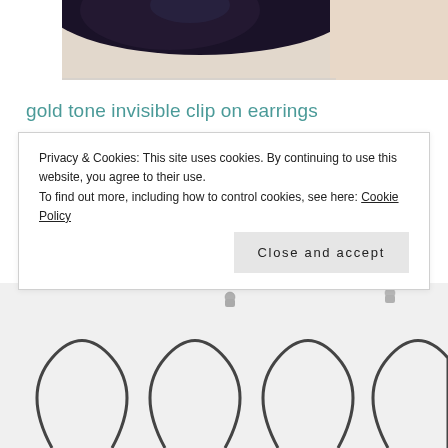[Figure (photo): Top portion of a photo showing a person with dark hair against a light background]
gold tone invisible clip on earrings
[Figure (photo): Bottom portion of a product photo showing metallic clip-on hoop earrings on a white background, with earring clips visible at the top]
Privacy & Cookies: This site uses cookies. By continuing to use this website, you agree to their use.
To find out more, including how to control cookies, see here: Cookie Policy
Close and accept